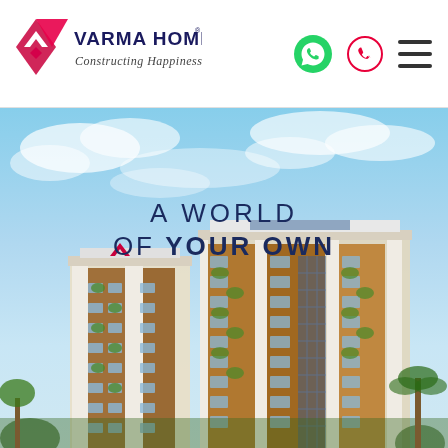[Figure (logo): Varma Homes logo with red/pink diamond W shape and text 'VARMA HOMES' with tagline 'Constructing Happiness']
[Figure (illustration): WhatsApp icon (green circle with phone handset) and phone call icon (red circle outline with phone handset) and hamburger menu icon]
[Figure (photo): Architectural rendering of two modern high-rise residential apartment buildings with wooden facade panels, balconies with greenery, against a blue sky with clouds. Text overlay reads 'A WORLD OF YOUR OWN']
A WORLD OF YOUR OWN